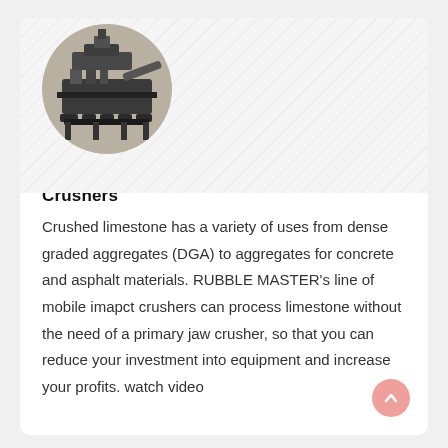[Figure (photo): Circular cropped photo of a mobile rock crusher machine in a facility, shown on a hatched/diagonal pattern background within a white card.]
Crushing Limestone - Mobile Rock Crushers
Crushed limestone has a variety of uses from dense graded aggregates (DGA) to aggregates for concrete and asphalt materials. RUBBLE MASTER's line of mobile imapct crushers can process limestone without the need of a primary jaw crusher, so that you can reduce your investment into equipment and increase your profits. watch video
[Figure (photo): Partial circular cropped photo of industrial equipment (appears to be a round mechanical part/disc with bolts) on a hatched background within a second white card at the bottom of the page.]